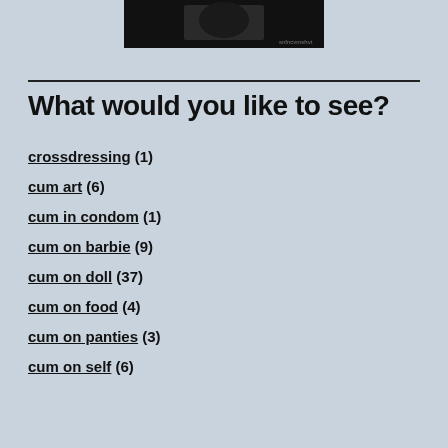[Figure (photo): Dark cropped photo at top center of page]
What would you like to see?
crossdressing (1)
cum art (6)
cum in condom (1)
cum on barbie (9)
cum on doll (37)
cum on food (4)
cum on panties (3)
cum on self (6)